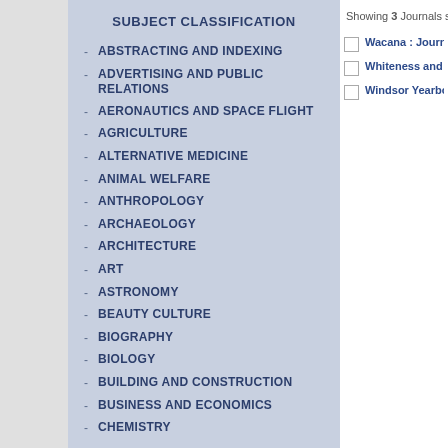SUBJECT CLASSIFICATION
ABSTRACTING AND INDEXING
ADVERTISING AND PUBLIC RELATIONS
AERONAUTICS AND SPACE FLIGHT
AGRICULTURE
ALTERNATIVE MEDICINE
ANIMAL WELFARE
ANTHROPOLOGY
ARCHAEOLOGY
ARCHITECTURE
ART
ASTRONOMY
BEAUTY CULTURE
BIOGRAPHY
BIOLOGY
BUILDING AND CONSTRUCTION
BUSINESS AND ECONOMICS
CHEMISTRY
Showing 3 Journals star...
Wacana : Journal o...
Whiteness and Edu...
Windsor Yearbook...